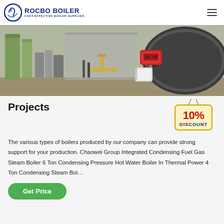ROCBO BOILER — COST-EFFECTIVE BOILER SUPPLIER
[Figure (photo): Industrial boiler installation showing a large cylindrical steam boiler with a red burner unit, yellow gas pipes, pumps, and water treatment tanks in an industrial facility.]
Projects
[Figure (other): 10% DISCOUNT badge/sticker graphic in red and gold colors]
The various types of boilers produced by our company can provide strong support for your production. Chaowei Group Integrated Condensing Fuel Gas Steam Boiler 6 Ton Condensing Pressure Hot Water Boiler In Thermal Power 4 Ton Condensing Steam Boi…
Get Price